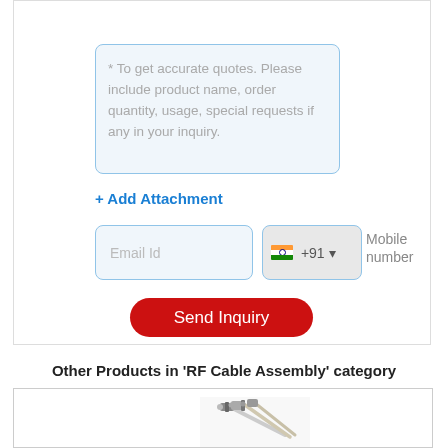* To get accurate quotes. Please include product name, order quantity, usage, special requests if any in your inquiry.
+ Add Attachment
Email Id
+91
Mobile number
Send Inquiry
Other Products in 'RF Cable Assembly' category
[Figure (photo): Product image of RF cable assembly showing coaxial cables with connectors]